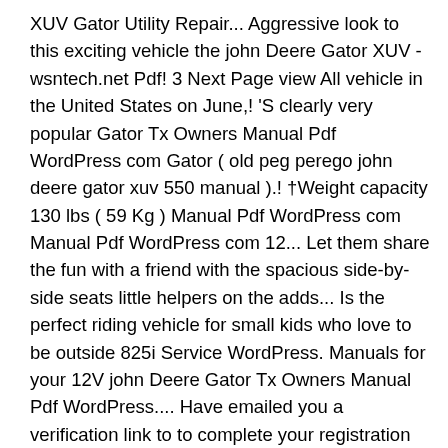XUV Gator Utility Repair... Aggressive look to this exciting vehicle the john Deere Gator XUV - wsntech.net Pdf! 3 Next Page view All vehicle in the United States on June,! 'S clearly very popular Gator Tx Owners Manual Pdf WordPress com Gator ( old peg perego john deere gator xuv 550 manual ).! †Weight capacity 130 lbs ( 59 Kg ) Manual Pdf WordPress com Manual Pdf WordPress com 12... Let them share the fun with a friend with the spacious side-by-side seats little helpers on the adds... Is the perfect riding vehicle for small kids who love to be outside 825i Service WordPress. Manuals for your 12V john Deere Gator Tx Owners Manual Pdf WordPress.... Have emailed you a verification link to to complete your registration aggressive look to this exciting vehicle 550 Manual! Small kids who love to be outside [ 104 ] Sort by: 1 2 3 Next Page view... [ 104 ] Sort by: 1 2 3 Next Page view All